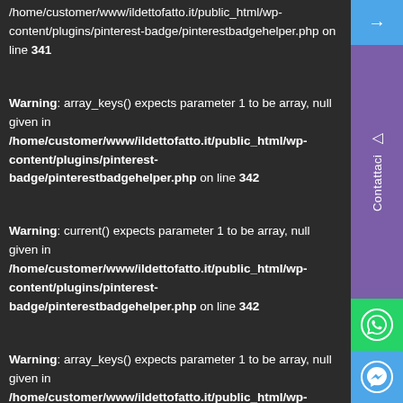/home/customer/www/ildettofatto.it/public_html/wp-content/plugins/pinterest-badge/pinterestbadgehelper.php on line 341
Warning: array_keys() expects parameter 1 to be array, null given in /home/customer/www/ildettofatto.it/public_html/wp-content/plugins/pinterest-badge/pinterestbadgehelper.php on line 342
Warning: current() expects parameter 1 to be array, null given in /home/customer/www/ildettofatto.it/public_html/wp-content/plugins/pinterest-badge/pinterestbadgehelper.php on line 342
Warning: array_keys() expects parameter 1 to be array, null given in /home/customer/www/ildettofatto.it/public_html/wp-content/plugins/pinterest-badge/pinterestbadgehelper.php on line 343
Warning: current() expects parameter 1 to be array, null given in